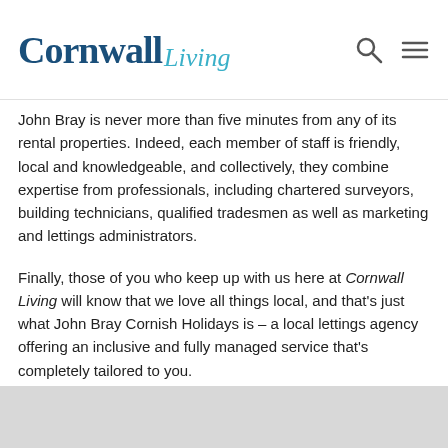Cornwall Living
John Bray is never more than five minutes from any of its rental properties. Indeed, each member of staff is friendly, local and knowledgeable, and collectively, they combine expertise from professionals, including chartered surveyors, building technicians, qualified tradesmen as well as marketing and lettings administrators.
Finally, those of you who keep up with us here at Cornwall Living will know that we love all things local, and that's just what John Bray Cornish Holidays is – a local lettings agency offering an inclusive and fully managed service that's completely tailored to you.